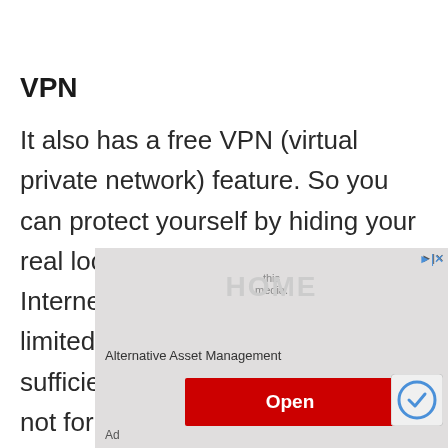VPN
It also has a free VPN (virtual private network) feature. So you can protect yourself by hiding your real location and IP address on the Internet. However, the free VPN is limited to 200 MB per day. This is sufficient for online banking, but not for stream